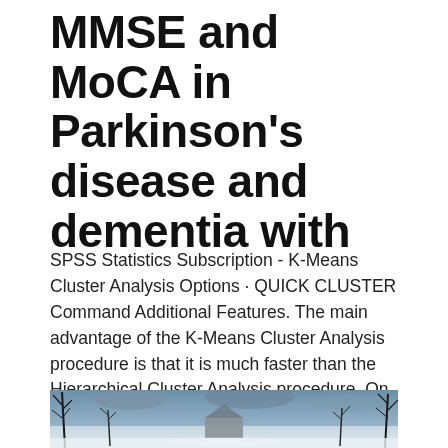MMSE and MoCA in Parkinson's disease and dementia with
SPSS Statistics Subscription - K-Means Cluster Analysis Options · QUICK CLUSTER Command Additional Features. The main advantage of the K-Means Cluster Analysis procedure is that it is much faster than the Hierarchical Cluster Analysis procedure. On the other hand, the  av A Nilsson · 2009 — För uppsatsen används de icke-hierarkiska klustermetoder, K-means, uträknat i SPSS version 17, och K-median, uträknat i Stata version 10.
[Figure (photo): A winter landscape photo showing bare trees against a cloudy sky with a building or structure visible in the background, covered in snow.]